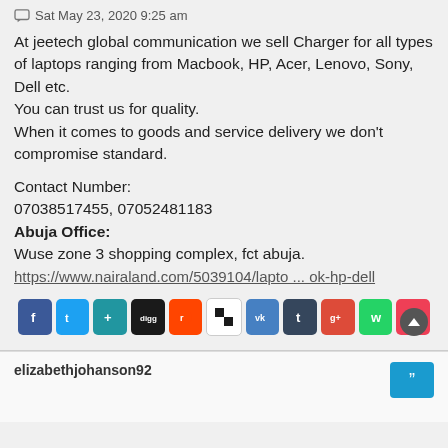Sat May 23, 2020 9:25 am
At jeetech global communication we sell Charger for all types of laptops ranging from Macbook, HP, Acer, Lenovo, Sony, Dell etc.
You can trust us for quality.
When it comes to goods and service delivery we don't compromise standard.
Contact Number:
07038517455, 07052481183
Abuja Office:
Wuse zone 3 shopping complex, fct abuja.
https://www.nairaland.com/5039104/lapto ... ok-hp-dell
[Figure (infographic): Row of social sharing icons: Facebook, Twitter, AddThis, Digg, Reddit, Delicious, VK, Tumblr, Google+, WhatsApp, Pocket]
elizabethjohanson92